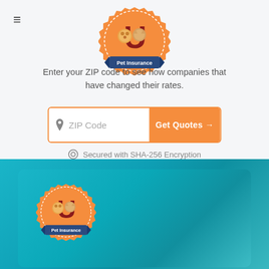[Figure (logo): Pet Insurance U logo - orange badge with letter U and cartoon dog and cat, 'Pet Insurance' banner at bottom]
Enter your ZIP code to see how companies that have changed their rates.
[Figure (screenshot): ZIP Code input field with location pin icon and orange 'Get Quotes →' button]
Secured with SHA-256 Encryption
[Figure (logo): Pet Insurance U logo repeated in lower teal/blue gradient card section]